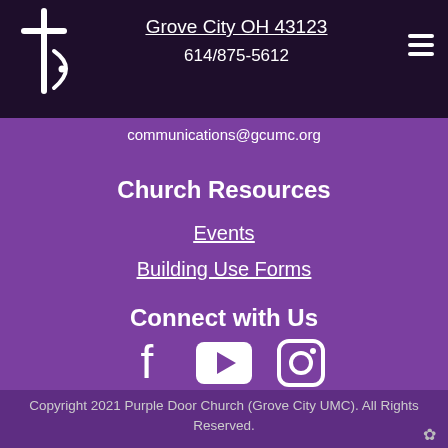[Figure (logo): White cross and fish/door symbol on dark purple background]
Grove City OH 43123
614/875-5612
communications@gcumc.org
Church Resources
Events
Building Use Forms
Connect with Us
[Figure (infographic): Facebook, YouTube, and Instagram social media icons]
Copyright 2021 Purple Door Church (Grove City UMC). All Rights Reserved.